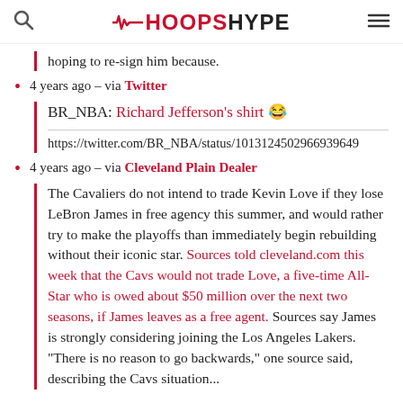HOOPSHYPE
hoping to re-sign him because.
4 years ago – via Twitter
BR_NBA: Richard Jefferson's shirt 😂
https://twitter.com/BR_NBA/status/101312450296693964...
4 years ago – via Cleveland Plain Dealer
The Cavaliers do not intend to trade Kevin Love if they lose LeBron James in free agency this summer, and would rather try to make the playoffs than immediately begin rebuilding without their iconic star. Sources told cleveland.com this week that the Cavs would not trade Love, a five-time All-Star who is owed about $50 million over the next two seasons, if James leaves as a free agent. Sources say James is strongly considering joining the Los Angeles Lakers. "There is no reason to go backwards," one source said, describing the Cavs situation...